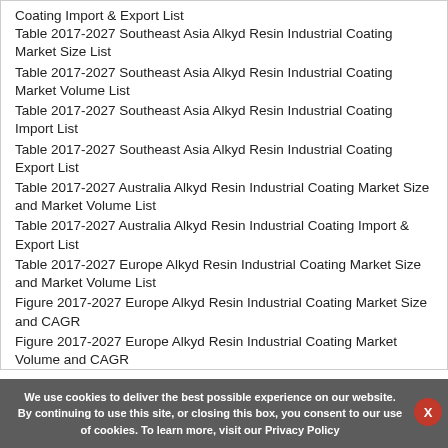Table 2017-2027 South Korea Alkyd Resin Industrial Coating Import & Export List
Table 2017-2027 Southeast Asia Alkyd Resin Industrial Coating Market Size List
Table 2017-2027 Southeast Asia Alkyd Resin Industrial Coating Market Volume List
Table 2017-2027 Southeast Asia Alkyd Resin Industrial Coating Import List
Table 2017-2027 Southeast Asia Alkyd Resin Industrial Coating Export List
Table 2017-2027 Australia Alkyd Resin Industrial Coating Market Size and Market Volume List
Table 2017-2027 Australia Alkyd Resin Industrial Coating Import & Export List
Table 2017-2027 Europe Alkyd Resin Industrial Coating Market Size and Market Volume List
Figure 2017-2027 Europe Alkyd Resin Industrial Coating Market Size and CAGR
Figure 2017-2027 Europe Alkyd Resin Industrial Coating Market Volume and CAGR
We use cookies to deliver the best possible experience on our website. By continuing to use this site, or closing this box, you consent to our use of cookies. To learn more, visit our Privacy Policy